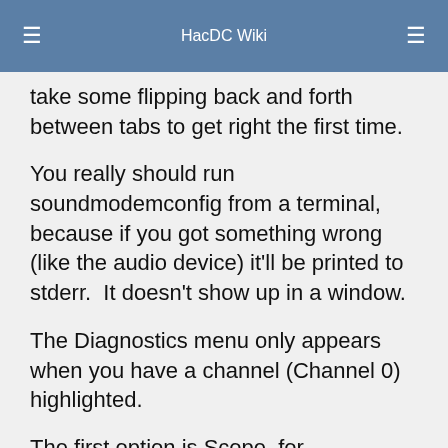HacDC Wiki
take some flipping back and forth between tabs to get right the first time.
You really should run soundmodemconfig from a terminal, because if you got something wrong (like the audio device) it'll be printed to stderr.  It doesn't show up in a window.
The Diagnostics menu only appears when you have a channel (Channel 0) highlighted.
The first option is Scope, for oscilloscope.  To get a test signal, click the PTT button (make sure your speakers are turned down!)
The second option is Spectrum, for spectrum analyzer of the signal being send to the sound card.  To get a test